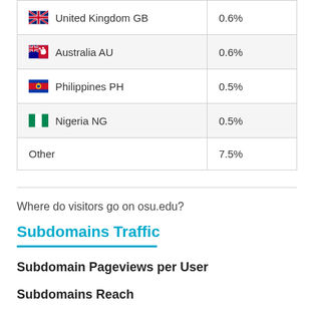| Country | Percentage |
| --- | --- |
| United Kingdom GB | 0.6% |
| Australia AU | 0.6% |
| Philippines PH | 0.5% |
| Nigeria NG | 0.5% |
| Other | 7.5% |
Where do visitors go on osu.edu?
Subdomains Traffic
Subdomain Pageviews per User
Subdomains Reach